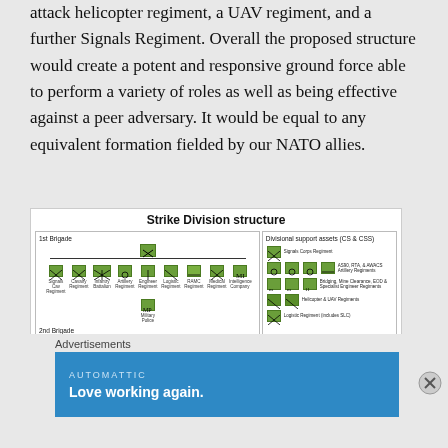attack helicopter regiment, a UAV regiment, and a further Signals Regiment. Overall the proposed structure would create a potent and responsive ground force able to perform a variety of roles as well as being effective against a peer adversary. It would be equal to any equivalent formation fielded by our NATO allies.
[Figure (organizational-chart): Organizational chart showing Strike Division structure with 1st Brigade and 2nd Brigade on the left side (each with subordinate units including Signals, Cavalry, Infantry, Artillery, Engineer, Logistic, RAMC, Medical, Intelligence, Military Police regiments/companies) and Divisional support assets (CS & CSS) on the right side including Signals Corps Regiment, Artillery (AS90, RTA, AWACS), Artillery Batteries, Bridging/Mine Clearance/EOD and Specialist Engineer Regiments, Helicopter and UAV Regiments, Logistic Regiment.]
Advertisements
[Figure (other): Advertisement banner: AUTOMATTIC — Love working again.]